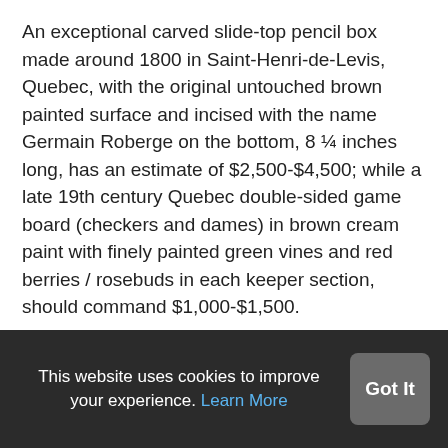An exceptional carved slide-top pencil box made around 1800 in Saint-Henri-de-Levis, Quebec, with the original untouched brown painted surface and incised with the name Germain Roberge on the bottom, 8 ¼ inches long, has an estimate of $2,500-$4,500; while a late 19th century Quebec double-sided game board (checkers and dames) in brown cream paint with finely painted green vines and red berries / rosebuds in each keeper section, should command $1,000-$1,500.
A safe-viewing preview (where all COVID-19 protocols will be in place and observed) will be held April 14th, 15th and 16th, from 1 pm-5 pm Eastern time in the
This website uses cookies to improve your experience. Learn More  Got It